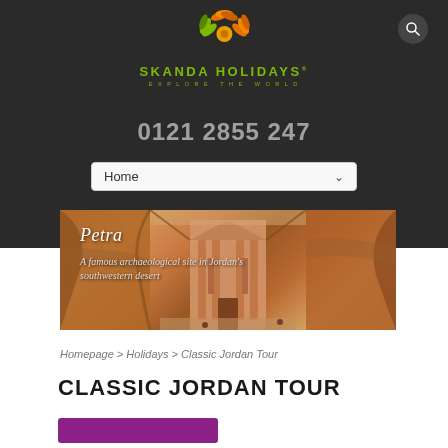[Figure (logo): Skanda Holidays logo with sunflower/leaf design in orange and yellow, green text SKANDA HOLIDAYS with tagline EXPLORE THE WORLD]
0121 2855 247
Home ▾
[Figure (photo): Petra archaeological site in Jordan's southwestern desert — ancient carved sandstone temple facade in canyon]
Petra
A famous archaeological site in Jordan's southwestern desert
Homepage > Holidays > Classic Jordan Tour
CLASSIC JORDAN TOUR